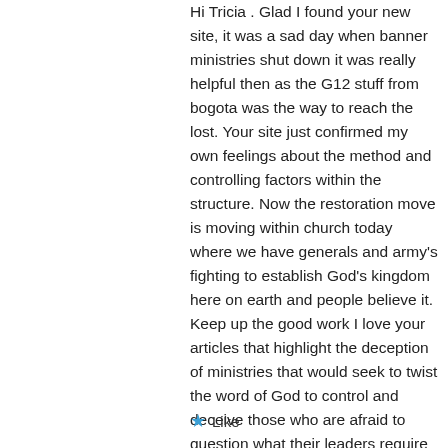Hi Tricia . Glad I found your new site, it was a sad day when banner ministries shut down it was really helpful then as the G12 stuff from bogota was the way to reach the lost. Your site just confirmed my own feelings about the method and controlling factors within the structure. Now the restoration move is moving within church today where we have generals and army's fighting to establish God's kingdom here on earth and people believe it. Keep up the good work I love your articles that highlight the deception of ministries that would seek to twist the word of God to control and deceive those who are afraid to question what their leaders require from them. Keep up the good work.
Like